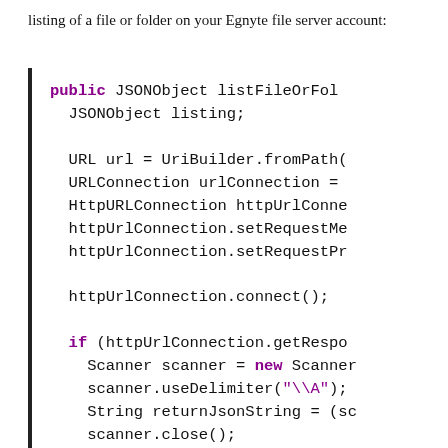listing of a file or folder on your Egnyte file server account:
[Figure (other): Java code snippet showing a method to list a file or folder using JSONObject, UriBuilder, URLConnection, HttpURLConnection, Scanner, and related API calls]